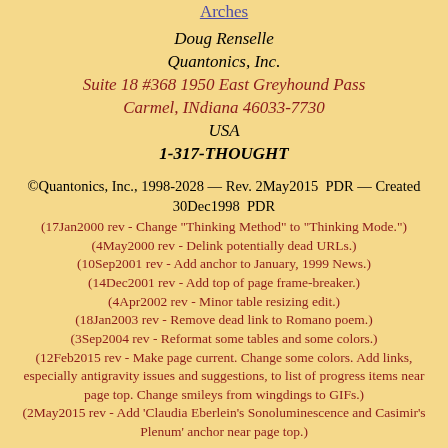Arches
Doug Renselle
Quantonics, Inc.
Suite 18 #368 1950 East Greyhound Pass
Carmel, INdiana 46033-7730
USA
1-317-THOUGHT
©Quantonics, Inc., 1998-2028 — Rev. 2May2015  PDR — Created 30Dec1998  PDR
(17Jan2000 rev - Change "Thinking Method" to "Thinking Mode.")
(4May2000 rev - Delink potentially dead URLs.)
(10Sep2001 rev - Add anchor to January, 1999 News.)
(14Dec2001 rev - Add top of page frame-breaker.)
(4Apr2002 rev - Minor table resizing edit.)
(18Jan2003 rev - Remove dead link to Romano poem.)
(3Sep2004 rev - Reformat some tables and some colors.)
(12Feb2015 rev - Make page current. Change some colors. Add links, especially antigravity issues and suggestions, to list of progress items near page top. Change smileys from wingdings to GIFs.)
(2May2015 rev - Add 'Claudia Eberlein's Sonoluminescence and Casimir's Plenum' anchor near page top.)